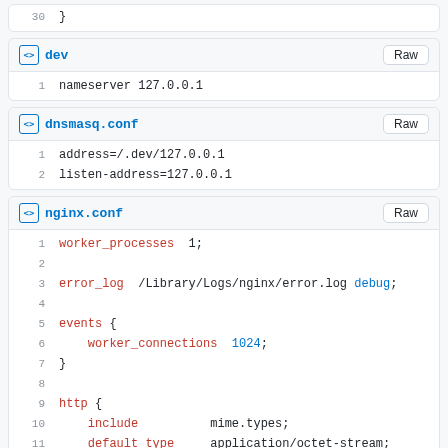30    }
dev
1    nameserver 127.0.0.1
dnsmasq.conf
1    address=/.dev/127.0.0.1
2    listen-address=127.0.0.1
nginx.conf
1    worker_processes  1;
2    
3    error_log  /Library/Logs/nginx/error.log debug;
4    
5    events {
6        worker_connections  1024;
7    }
8    
9    http {
10       include                  mime.types;
11       default_type             application/octet-stream;